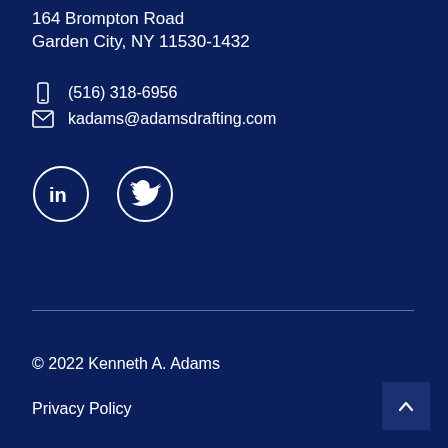164 Brompton Road
Garden City, NY 11530-1432
(516) 318-6956
kadams@adamsdrafting.com
[Figure (other): LinkedIn and Twitter social media icons as white outlined circles]
© 2022 Kenneth A. Adams
Privacy Policy